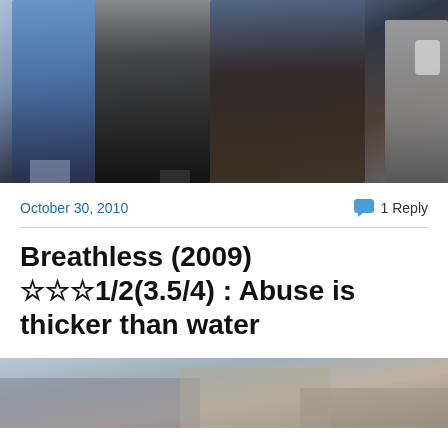[Figure (photo): Photo of people walking, including individuals in dark jackets and blue shirts, against an urban background]
October 30, 2010
1 Reply
Breathless (2009) ☆☆☆1/2(3.5/4) : Abuse is thicker than water
[Figure (photo): Street scene photo, partially visible at bottom of page]